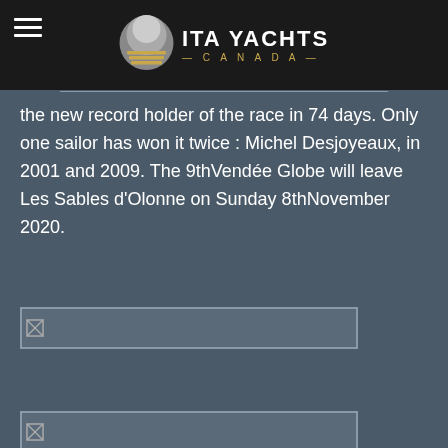[Figure (logo): ITA Yachts Canada logo with hamburger menu icon on black header bar]
the new record holder of the race in 74 days. Only one sailor has won it twice : Michel Desjoyeaux, in 2001 and 2009. The 9thVendée Globe will leave Les Sables d'Olonne on Sunday 8thNovember 2020.
[Figure (photo): Image placeholder (broken image icon) in a bordered rectangle]
[Figure (photo): Image placeholder (broken image icon) in a bordered rectangle]